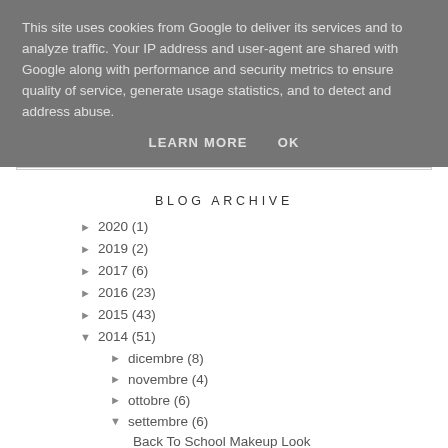This site uses cookies from Google to deliver its services and to analyze traffic. Your IP address and user-agent are shared with Google along with performance and security metrics to ensure quality of service, generate usage statistics, and to detect and address abuse.
LEARN MORE   OK
BLOG ARCHIVE
► 2020 (1)
► 2019 (2)
► 2017 (6)
► 2016 (23)
► 2015 (43)
▼ 2014 (51)
► dicembre (8)
► novembre (4)
► ottobre (6)
▼ settembre (6)
Back To School Makeup Look
Rimmel Scandaleyes Rockin' Curves | Review